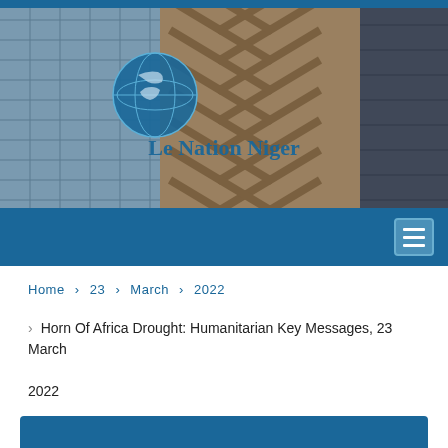[Figure (photo): Header image showing city skyscrapers from a low angle with a blue globe logo and the text 'Le Nation Niger' in blue overlaid on the image]
Le Nation Niger
Home > 23 > March > 2022
Horn Of Africa Drought: Humanitarian Key Messages, 23 March 2022